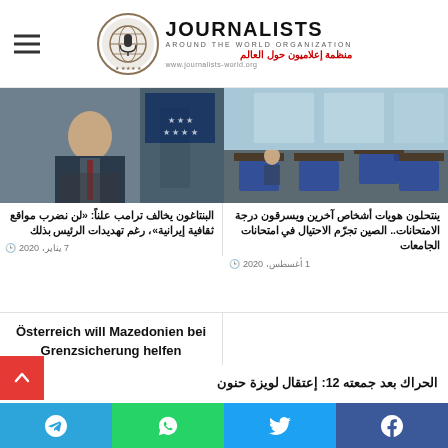Journalists Around The World Organization - منظمة إعلاميون حول العالم - www.journalists-world.org
[Figure (photo): Man in suit at podium with US flag background]
البنتاغون يخالف ترامب علناً: «لن نضرب مواقع ثقافية إيرانية»، رغم تهديدات الرئيس بذلك
7 يناير، 2020
[Figure (photo): Empty classroom with desks and chairs, blue tones]
ينتحلون هويات أشخاص آخرين ويسرقون درجة الامتحانات.. الصين تجرّم الاحتيال في امتحانات الجامعات
1 أغسطس، 2020
Österreich will Mazedonien bei Grenzsicherung helfen
16 مارس، 2016
الحراك بعد جمعته 12: إعتقال لويزة حنون